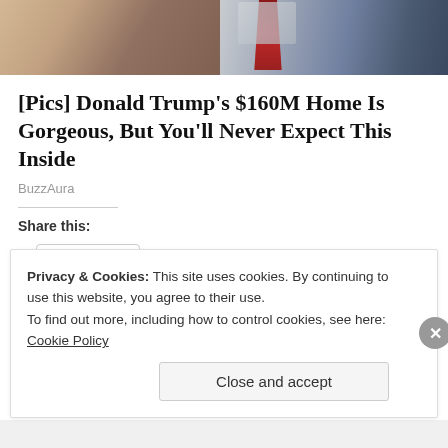[Figure (photo): Partial photo of two people, showing hair and clothing including a red patterned tie, cropped at the top of the page]
[Pics] Donald Trump's $160M Home Is Gorgeous, But You'll Never Expect This Inside
BuzzAura
Share this:
Share
Loading...
Privacy & Cookies: This site uses cookies. By continuing to use this website, you agree to their use.
To find out more, including how to control cookies, see here: Cookie Policy
Close and accept